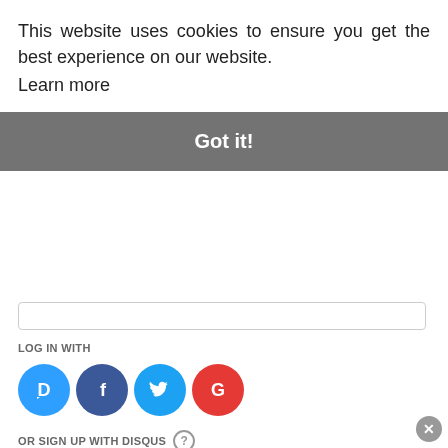This website uses cookies to ensure you get the best experience on our website. Learn more
Got it!
ogin ▾
west ▾
LOG IN WITH
[Figure (infographic): Social login icons: Disqus (blue circle with D), Facebook (dark blue circle with f), Twitter (light blue circle with bird), Google (red circle with G)]
OR SIGN UP WITH DISQUS ?
Name
Marlynn [UrbanBlissLife]
7 years ago
Beautiful! Very classic and elegant.